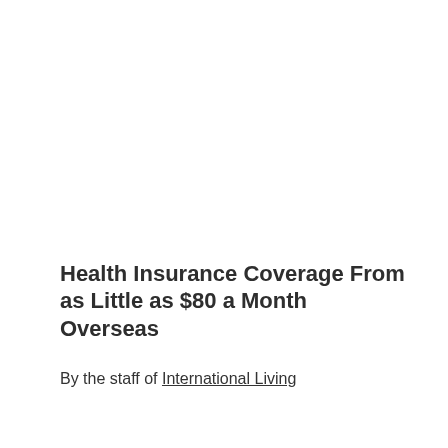Health Insurance Coverage From as Little as $80 a Month Overseas
By the staff of International Living